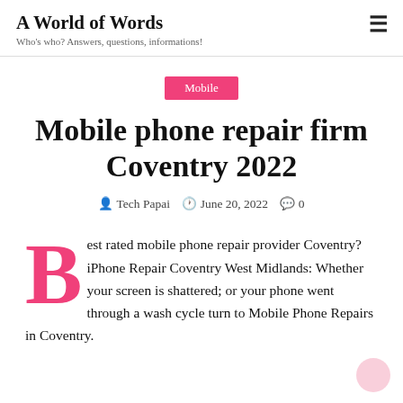A World of Words — Who's who? Answers, questions, informations!
Mobile
Mobile phone repair firm Coventry 2022
Tech Papai   June 20, 2022   0
Best rated mobile phone repair provider Coventry? iPhone Repair Coventry West Midlands: Whether your screen is shattered; or your phone went through a wash cycle turn to Mobile Phone Repairs in Coventry.